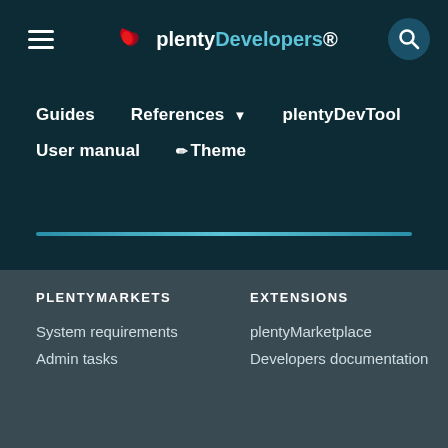[Figure (logo): plentyDevelopers logo with red swirl icon and white/teal text]
Guides   References ▼   plentyDevTool   User manual   ✏ Theme
PLENTYMARKETS
EXTENSIONS
System requirements
Admin tasks
plentyMarketplace
Developers documentation